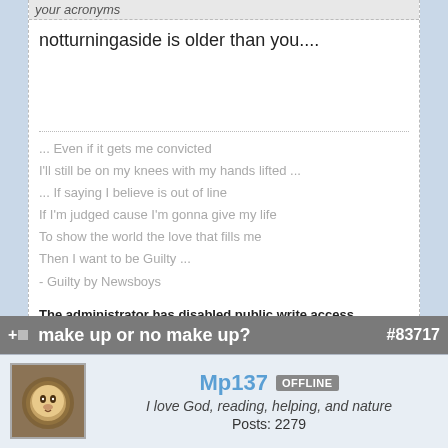your acronyms
notturningaside is older than you....
... Even if it gets me convicted
I'll still be on my knees with my hands lifted ...
... If saying I believe is out of line
If I'm judged cause I'm gonna give my life
To show the world the love that fills me
Then I want to be Guilty ...
- Guilty by Newsboys
The administrator has disabled public write access.
make up or no make up? #83717
Mp137 OFFLINE
I love God, reading, helping, and nature
Posts: 2279